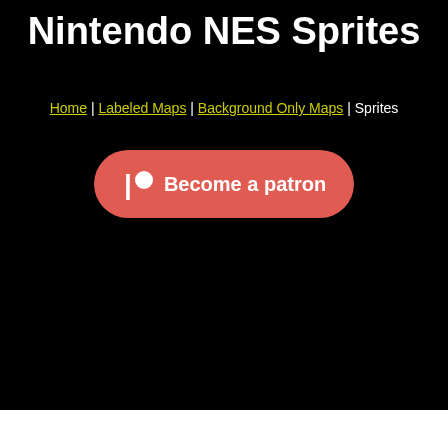Nintendo NES Sprites
Home | Labeled Maps | Background Only Maps | Sprites
[Figure (other): Patreon 'Become a patron' button with red/salmon rounded rectangle background, Patreon logo icon (stylized P with circle) on left, bold white text 'Become a patron' on right]